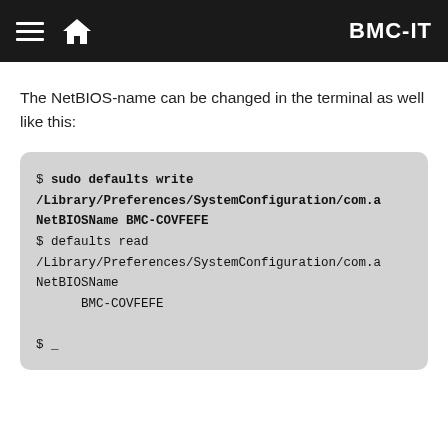BMC-IT
The NetBIOS-name can be changed in the terminal as well like this:
[Figure (screenshot): Terminal code block showing sudo defaults write /Library/Preferences/SystemConfiguration/com.a NetBIOSName BMC-COVFEFE and defaults read /Library/Preferences/SystemConfiguration/com.a NetBIOSName returning BMC-COVFEFE]